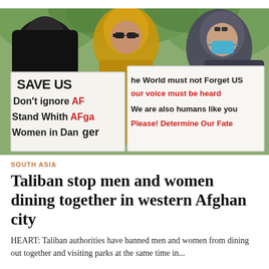[Figure (photo): Women holding protest signs reading 'SAVE US Don't ignore AF Stand With AFga Women in Danger' and 'The World must not forget us Our voice must be heard We are also humans like you Please! Determine Our Fate'. The women are wearing hijabs and one wears a blue face mask, standing outdoors with green trees in background.]
SOUTH ASIA
Taliban stop men and women dining together in western Afghan city
HEART: Taliban authorities have banned men and women from dining out together and visiting parks at the same time in...